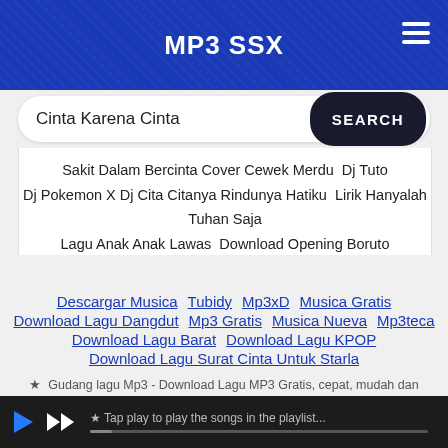MP3 SSX
Cinta Karena Cinta
Sakit Dalam Bercinta Cover Cewek Merdu  Dj Tuto
Dj Pokemon X Dj Cita Citanya Rindunya Hatiku  Lirik Hanyalah Tuhan Saja
Lagu Anak Anak Lawas  Download Opening Boruto
Descargar Musica
Tubidy
Mp3xD
Musica Gratis
Download Lagu Dangdut
Mp3 Gratis
Musica Nueva
Mp3teca
Download Lagu Barat
Download Lagu KPOP
Download Lagu Surat Cinta Untuk Starla
★  Gudang lagu Mp3 - Download Lagu MP3 Gratis, cepat, mudah dan sangat stabil. Download Lagu Terbaru 2019, Gudang Lagu Mp3 Gratis Terbaik 2019. Gudang musik, Free download mp3 Indonesia.
★ Tap play to play the songs in the playlist...